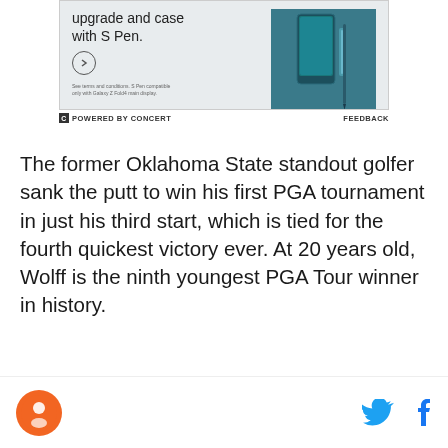[Figure (other): Samsung Galaxy Z Fold advertisement with phone image and S Pen case upgrade offer]
POWERED BY CONCERT   FEEDBACK
The former Oklahoma State standout golfer sank the putt to win his first PGA tournament in just his third start, which is tied for the fourth quickest victory ever. At 20 years old, Wolff is the ninth youngest PGA Tour winner in history.
[Figure (logo): Site logo and social media share icons for Twitter and Facebook]